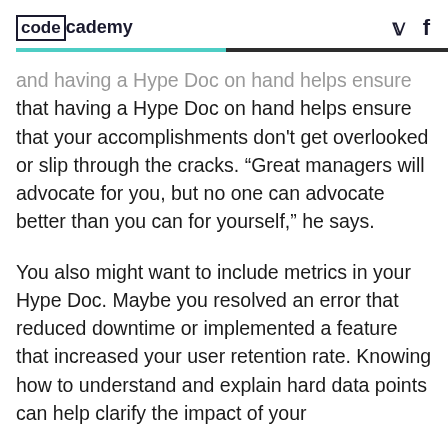codecademy
and having a Hype Doc on hand helps ensure that your accomplishments don't get overlooked or slip through the cracks. “Great managers will advocate for you, but no one can advocate better than you can for yourself,” he says.
You also might want to include metrics in your Hype Doc. Maybe you resolved an error that reduced downtime or implemented a feature that increased your user retention rate. Knowing how to understand and explain hard data points can help clarify the impact of your